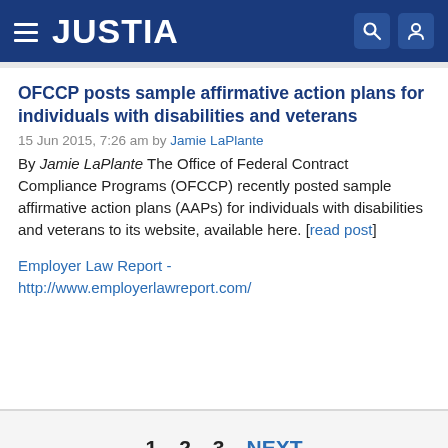JUSTIA
OFCCP posts sample affirmative action plans for individuals with disabilities and veterans
15 Jun 2015, 7:26 am by Jamie LaPlante
By Jamie LaPlante The Office of Federal Contract Compliance Programs (OFCCP) recently posted sample affirmative action plans (AAPs) for individuals with disabilities and veterans to its website, available here. [read post]
Employer Law Report - http://www.employerlawreport.com/
1   2   3   NEXT